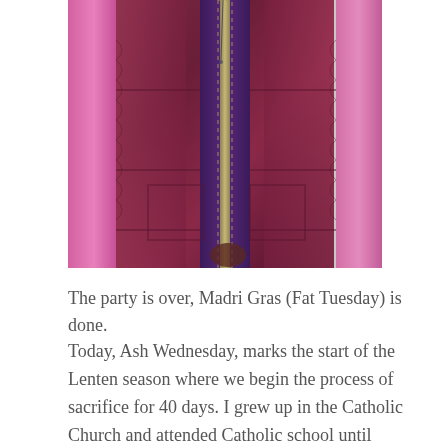[Figure (photo): A person wearing a dark burgundy/maroon velvet zip-up jacket, partially unzipped, standing near a pink railing or pole. The jacket has a quilted or paneled texture.]
The party is over, Madri Gras (Fat Tuesday) is done.
Today, Ash Wednesday, marks the start of the Lenten season where we begin the process of sacrifice for 40 days. I grew up in the Catholic Church and attended Catholic school until college, so the Lenten season has